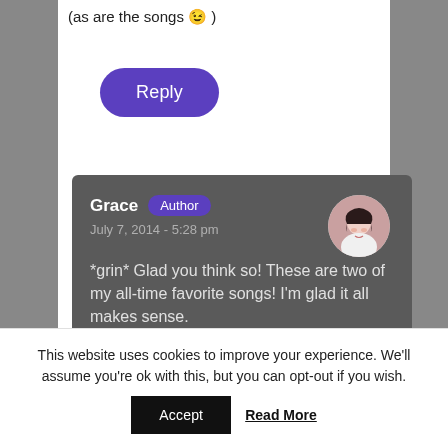(as are the songs 😉 )
Reply
Grace Author
July 7, 2014 - 5:28 pm
*grin* Glad you think so! These are two of my all-time favorite songs! I'm glad it all makes sense.
This website uses cookies to improve your experience. We'll assume you're ok with this, but you can opt-out if you wish.
Accept  Read More